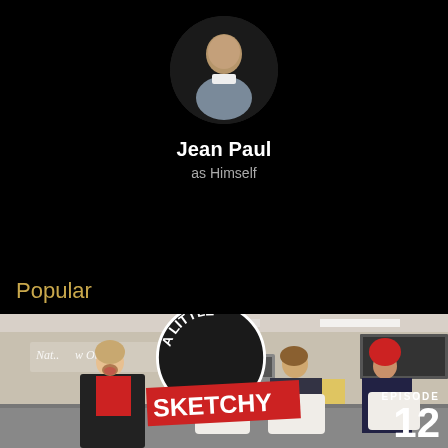[Figure (photo): Circular profile photo of Jean Paul, a man in a grey blazer against a dark background with decorative dark arcs on sides]
Jean Paul
as Himself
Popular
[Figure (photo): Scene from TV show 'A Little Sketchy' episode 12 - PREMIUM content. Shows a woman in red top and black jacket laughing, with three men and a woman in red wig holding pillows, set in a store (National Furniture Outlet). A Little Sketchy logo and EPISODE 12 text overlay.]